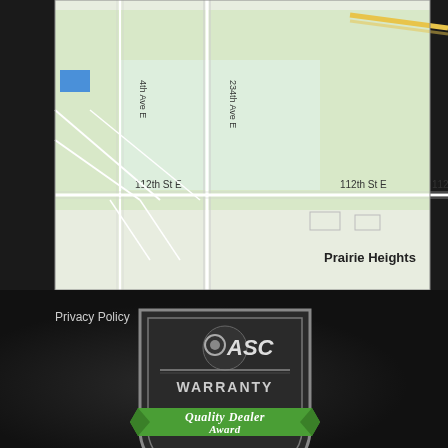[Figure (map): Street map showing Prairie Heights area with 112th St E, 234th Ave E, and surrounding streets in a light green/white style]
Privacy Policy
[Figure (logo): ASC Warranty Quality Dealer Award 2018 badge/logo with shield shape, green ribbon banner, and silver ASC Warranty text]